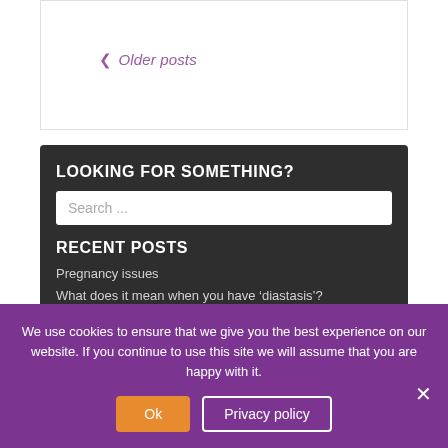< Older posts
LOOKING FOR SOMETHING?
Search ...
RECENT POSTS
Pregnancy issues
What does it mean when you have ‘diastasis’?
We use cookies to ensure that we give you the best experience on our website. If you continue to use this site we will assume that you are happy with it.
Ok
Privacy policy